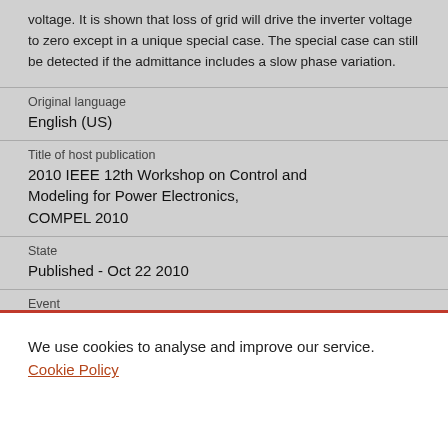voltage. It is shown that loss of grid will drive the inverter voltage to zero except in a unique special case. The special case can still be detected if the admittance includes a slow phase variation.
Original language
English (US)
Title of host publication
2010 IEEE 12th Workshop on Control and Modeling for Power Electronics, COMPEL 2010
State
Published - Oct 22 2010
Event
We use cookies to analyse and improve our service. Cookie Policy